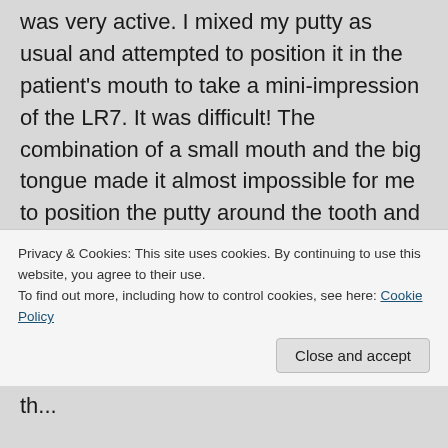was very active. I mixed my putty as usual and attempted to position it in the patient's mouth to take a mini-impression of the LR7. It was difficult! The combination of a small mouth and the big tongue made it almost impossible for me to position the putty around the tooth and hold it there with my fingers for the ~3-4 minutes whilst the putty sets. The tongue kept pushing my fingers and the putty out of the way. I persevered and tried my best to reposition the putty and hold it there. I tried using all my verbal techniques to try
Privacy & Cookies: This site uses cookies. By continuing to use this website, you agree to their use.
To find out more, including how to control cookies, see here: Cookie Policy
Close and accept
th...